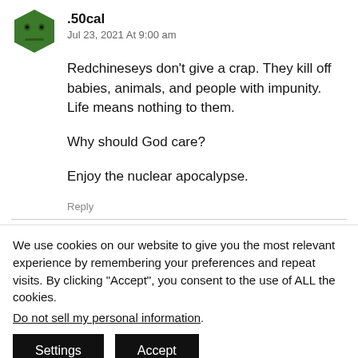[Figure (illustration): Green hexagonal avatar icon with a cartoon face (frowning expression, two dot eyes)]
.50cal
Jul 23, 2021 At 9:00 am
Redchineseys don't give a crap. They kill off babies, animals, and people with impunity. Life means nothing to them.

Why should God care?

Enjoy the nuclear apocalypse.
Reply
We use cookies on our website to give you the most relevant experience by remembering your preferences and repeat visits. By clicking “Accept”, you consent to the use of ALL the cookies.
Do not sell my personal information.
Settings
Accept